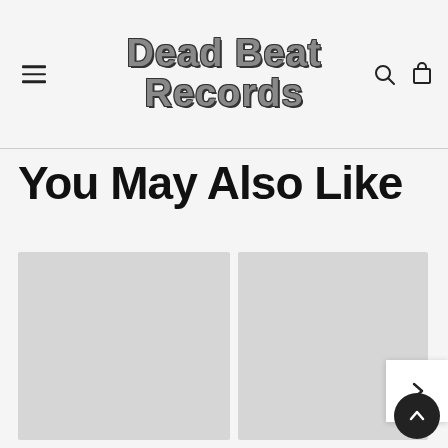Dead Beat Records — navigation header with hamburger menu, logo, search and cart icons
You May Also Like
[Figure (photo): Product placeholder image for Iron Boots - 2004 Demo 7" RARE ORANGE LABEL]
Iron Boots - 2004 Demo 7" RARE ORANGE LABEL
[Figure (photo): Product placeholder image for Attentat- Ge Fan I Mej 7" REISSUE!]
Attentat- Ge Fan I Mej 7" REISSUE!